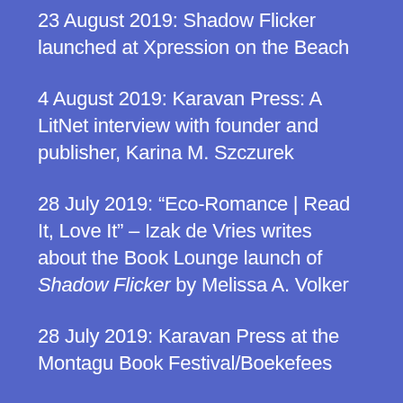23 August 2019: Shadow Flicker launched at Xpression on the Beach
4 August 2019: Karavan Press: A LitNet interview with founder and publisher, Karina M. Szczurek
28 July 2019: “Eco-Romance | Read It, Love It” – Izak de Vries writes about the Book Lounge launch of Shadow Flicker by Melissa A. Volker
28 July 2019: Karavan Press at the Montagu Book Festival/Boekefees
22 July 2019: Shadow Flicker by Melissa A. Volker to